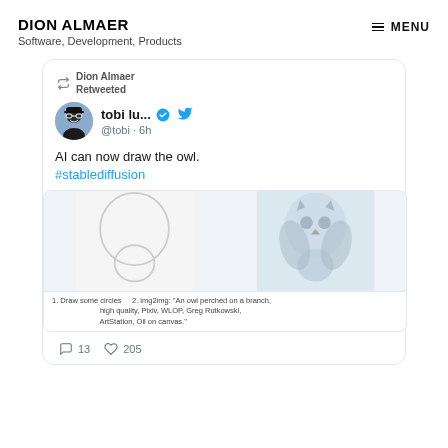DION ALMAER
Software, Development, Products
≡ MENU
[Figure (screenshot): Tweet card from @tobi (tobi lu...) retweeted by Dion Almaer. Tweet text: 'AI can now draw the owl. #stablediffusion'. Contains an image showing two steps: 1. Draw some circles, 2. img2img of an owl on a branch. 13 comments, 205 likes.]